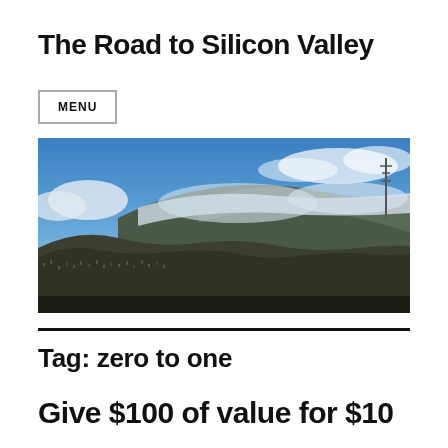The Road to Silicon Valley
MENU
[Figure (photo): Panoramic aerial view of a dense urban city with hills and clouds in the background, likely San Francisco with Sutro Tower visible on the right.]
Tag: zero to one
Give $100 of value for $10